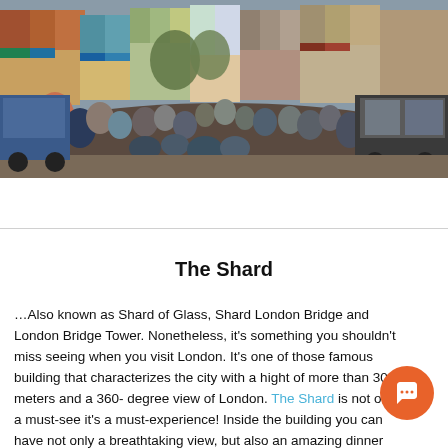[Figure (photo): A crowded London street scene with many people walking, colorful shopfronts on both sides, a black cab on the right, trees in the background, overcast sky.]
The Shard
…Also known as Shard of Glass, Shard London Bridge and London Bridge Tower. Nonetheless, it's something you shouldn't miss seeing when you visit London. It's one of those famous building that characterizes the city with a hight of more than 300 meters and a 360- degree view of London. The Shard is not only a must-see it's a must-experience! Inside the building you can have not only a breathtaking view, but also an amazing dinner and